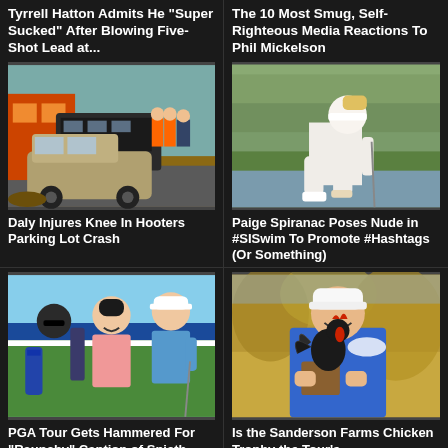Tyrrell Hatton Admits He "Super Sucked" After Blowing Five-Shot Lead at...
[Figure (photo): Car crashed in a parking lot with people in Hooters uniforms in background]
Daly Injures Knee In Hooters Parking Lot Crash
The 10 Most Smug, Self-Righteous Media Reactions To Phil Mickelson
[Figure (photo): Female golfer crouching on a golf course near water]
Paige Spiranac Poses Nude in #SISwim To Promote #Hashtags (Or Something)
[Figure (photo): Three people smiling on a golf course — caddie, woman, and golfer]
PGA Tour Gets Hammered For "Raunchy" Caption of Spieth
[Figure (photo): Golfer holding a rooster trophy]
Is the Sanderson Farms Chicken Trophy the Tour's